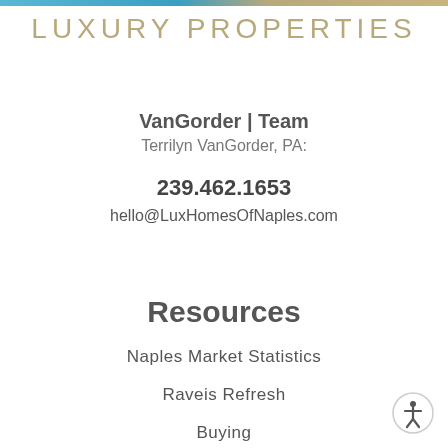LUXURY PROPERTIES
VanGorder | Team
Terrilyn VanGorder, PA:
239.462.1653
hello@LuxHomesOfNaples.com
Resources
Naples Market Statistics
Raveis Refresh
Buying